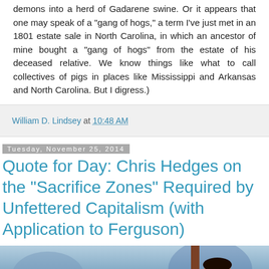demons into a herd of Gadarene swine. Or it appears that one may speak of a "gang of hogs," a term I've just met in an 1801 estate sale in North Carolina, in which an ancestor of mine bought a "gang of hogs" from the estate of his deceased relative. We know things like what to call collectives of pigs in places like Mississippi and Arkansas and North Carolina. But I digress.)
William D. Lindsey at 10:48 AM
Tuesday, November 25, 2014
Quote for Day: Chris Hedges on the "Sacrifice Zones" Required by Unfettered Capitalism (with Application to Ferguson)
[Figure (photo): A photograph of a person, partially visible, against a blurred blue background. The top portion of the image shows a face and upper body.]